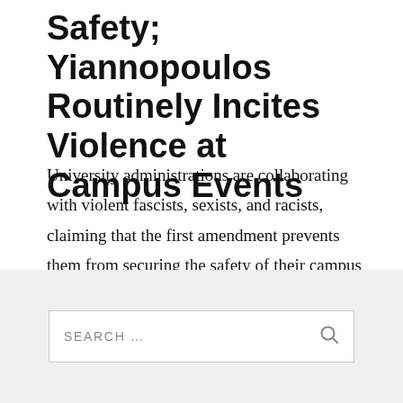Safety; Yiannopoulos Routinely Incites Violence at Campus Events
University administrations are collaborating with violent fascists, sexists, and racists, claiming that the first amendment prevents them from securing the safety of their campus communities.
[Figure (screenshot): Search bar with placeholder text 'SEARCH ...' and a magnifying glass icon on a light grey background]